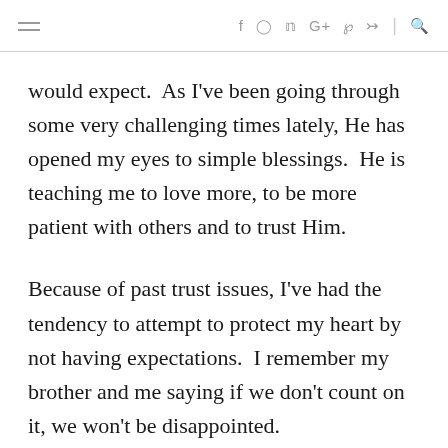≡   f  ⊙  𝕥  G+  ℘  ⊳  |  🔍
would expect.  As I've been going through some very challenging times lately, He has opened my eyes to simple blessings.  He is teaching me to love more, to be more patient with others and to trust Him.
Because of past trust issues, I've had the tendency to attempt to protect my heart by not having expectations.  I remember my brother and me saying if we don't count on it, we won't be disappointed.